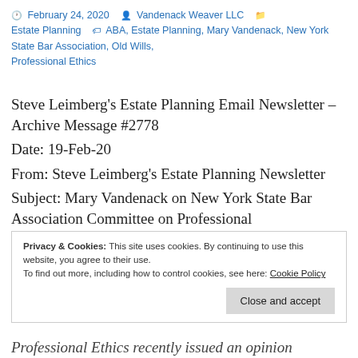February 24, 2020  Vandenack Weaver LLC  Estate Planning  ABA, Estate Planning, Mary Vandenack, New York State Bar Association, Old Wills, Professional Ethics
Steve Leimberg's Estate Planning Email Newsletter – Archive Message #2778
Date: 19-Feb-20
From: Steve Leimberg's Estate Planning Newsletter
Subject: Mary Vandenack on New York State Bar Association Committee on Professional
Privacy & Cookies: This site uses cookies. By continuing to use this website, you agree to their use.
To find out more, including how to control cookies, see here: Cookie Policy
Close and accept
Professional Ethics recently issued an opinion